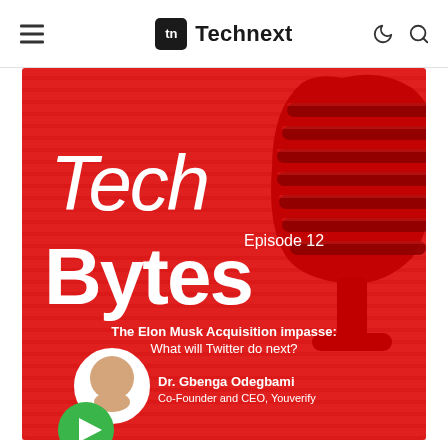Technext
[Figure (illustration): Tech Bytes podcast cover art on red background with striped pattern. Shows 'Tech Bytes Episode 12' title text, subtitle 'The Elon Musk Acquisition impasse: What will Twitter do next?', a guest photo of Dr. Gbenga Odegbami (Co-Founder and CEO, Youverify), a green play button, and a decorative 3D microphone graphic on the right side.]